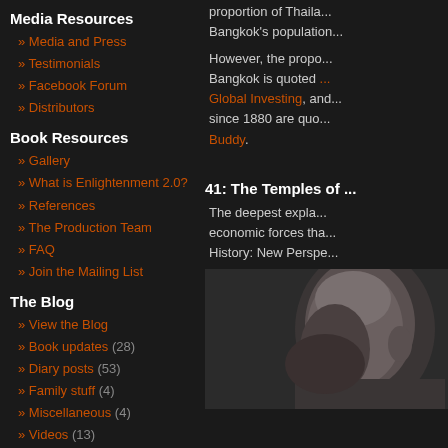Media Resources
Media and Press
Testimonials
Facebook Forum
Distributors
Book Resources
Gallery
What is Enlightenment 2.0?
References
The Production Team
FAQ
Join the Mailing List
The Blog
View the Blog
Book updates (28)
Diary posts (53)
Family stuff (4)
Miscellaneous (4)
Videos (13)
Website content (8)
Worldview (9)
Writing a Travel Book
Part 1: Introduction
Part 2: Conceiving the Idea
Part 3: Philosophy in a travel book?
Part 4: A Year in a Shed
Part 5: Binding Travel and Philosophy
Part 6: The Road to Publication
proportion of Thaila... Bangkok's population...
However, the propo... Bangkok is quoted ... Global Investing, and... since 1880 are quo... Buddy.
41: The Temples of ...
The deepest expla... economic forces tha... History: New Perspe...
[Figure (photo): Close-up black and white portrait photo of a bald person's head, eyes closed or downcast, shot from a side angle.]